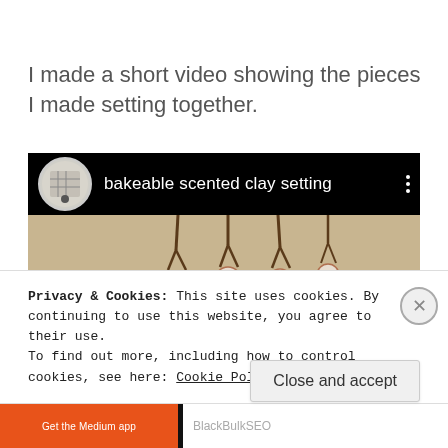I made a short video showing the pieces I made setting together.
[Figure (screenshot): Embedded YouTube video thumbnail showing 'bakeable scented clay setting' with a circular avatar/logo on a black header bar and decorative clay figurines hanging in the video frame below.]
Privacy & Cookies: This site uses cookies. By continuing to use this website, you agree to their use.
To find out more, including how to control cookies, see here: Cookie Policy.
Close and accept